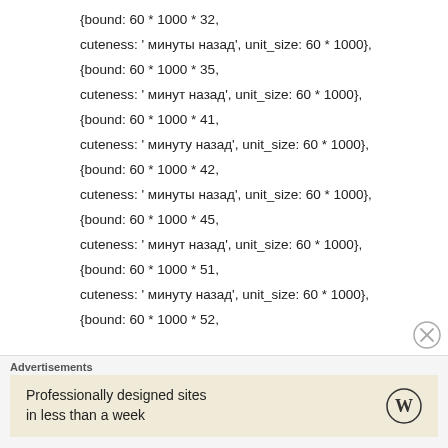{bound: 60 * 1000 * 32,
cuteness: ' минуты назад', unit_size: 60 * 1000},
{bound: 60 * 1000 * 35,
cuteness: ' минут назад', unit_size: 60 * 1000},
{bound: 60 * 1000 * 41,
cuteness: ' минуту назад', unit_size: 60 * 1000},
{bound: 60 * 1000 * 42,
cuteness: ' минуты назад', unit_size: 60 * 1000},
{bound: 60 * 1000 * 45,
cuteness: ' минут назад', unit_size: 60 * 1000},
{bound: 60 * 1000 * 51,
cuteness: ' минуту назад', unit_size: 60 * 1000},
{bound: 60 * 1000 * 52,
Advertisements
Professionally designed sites in less than a week